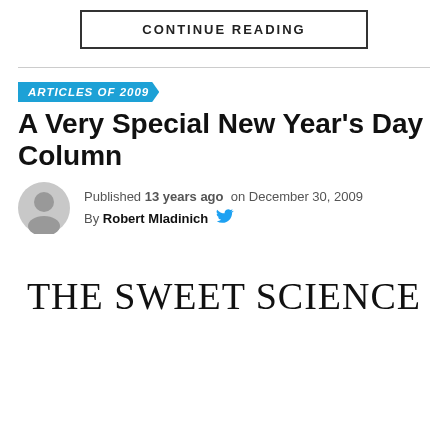CONTINUE READING
ARTICLES OF 2009
A Very Special New Year's Day Column
Published 13 years ago  on December 30, 2009
By Robert Mladinich
[Figure (logo): THE SWEET SCIENCE website logo in large serif font]